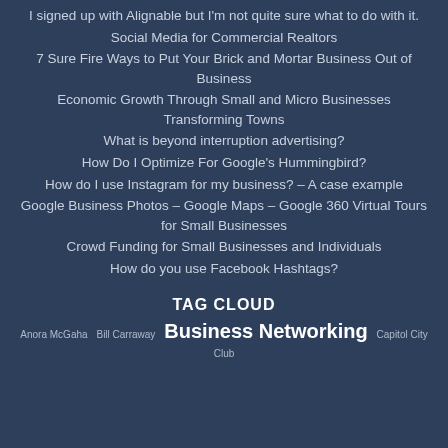I signed up with Alignable but I'm not quite sure what to do with it.
Social Media for Commercial Realtors
7 Sure Fire Ways to Put Your Brick and Mortar Business Out of Business
Economic Growth Through Small and Micro Businesses Transforming Towns
What is beyond interruption advertising?
How Do I Optimize For Google's Hummingbird?
How do I use Instagram for my business? – A case example
Google Business Photos – Google Maps – Google 360 Virtual Tours for Small Businesses
Crowd Funding for Small Businesses and Individuals
How do you use Facebook Hashtags?
TAG CLOUD
Anora McGaha  Bill Carraway  Business Networking  Capitol City Club